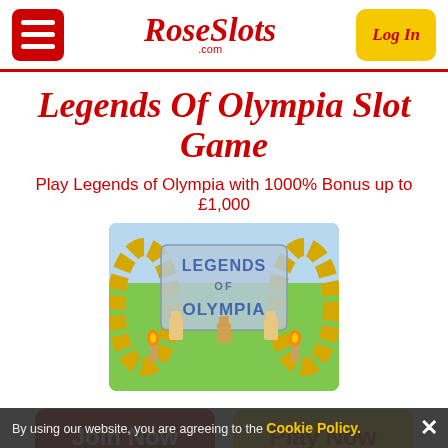RoseSlots.com — Log In
Legends Of Olympia Slot Game
Play Legends of Olympia with 1000% Bonus up to £1,000
[Figure (illustration): Legends of Olympia slot game promotional image with characters and gold laurel wreath decorations]
Join Now
Play Now
By using our website, you are agreeing to the Cookie Policy. Legends Of Olympia Slot Game by Saucify. Legends Of Olympia has Free Spins
× (close cookie notice)